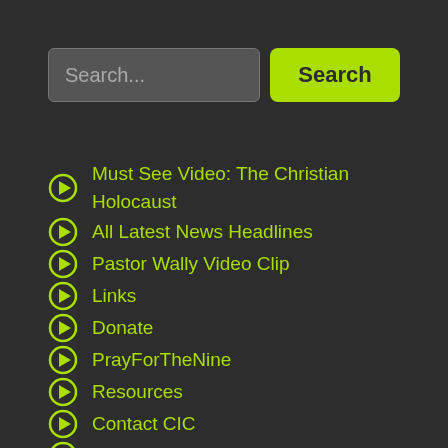[Figure (screenshot): Search input field with placeholder text 'Search...' and a green 'Search' button]
Must See Video: The Christian Holocaust
All Latest News Headlines
Pastor Wally Video Clip
Links
Donate
PrayForTheNine
Resources
Contact CIC
Free Gift
Weekly CIC Persecution News Headlines